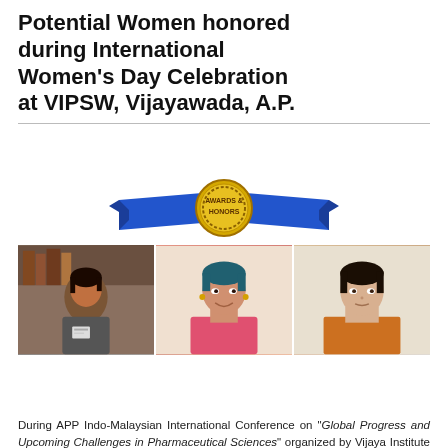Potential Women honored during International Women's Day Celebration at VIPSW, Vijayawada, A.P.
[Figure (illustration): Row of 9 gold/yellow star icons]
[Figure (illustration): Awards & Honors badge with blue ribbon banner]
[Figure (photo): Three women's photos side by side: woman in blazer with ID card, woman in pink/red top, woman in orange saree]
[Figure (illustration): Row of 9 golden trophy/woman figurine award icons]
During APP Indo-Malaysian International Conference on "Global Progress and Upcoming Challenges in Pharmaceutical Sciences" organized by Vijaya Institute of Pharmaceutical Sciences for Women,